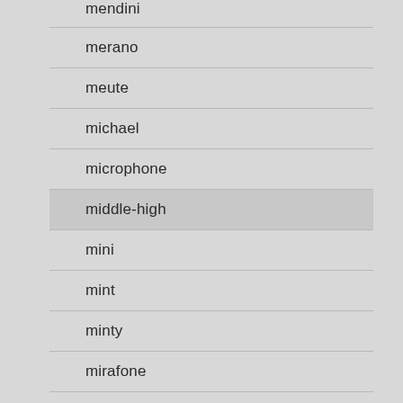mendini
merano
meute
michael
microphone
middle-high
mini
mint
minty
mirafone
miraphone
mister